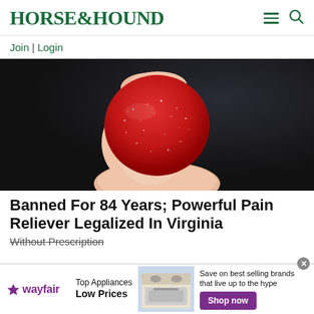HORSE&HOUND
Join | Login
[Figure (photo): Close-up photo of a hand holding a round red sugar-coated gummy candy against a dark background.]
Banned For 84 Years; Powerful Pain Reliever Legalized In Virginia
Without Prescription
[Figure (infographic): Wayfair advertisement banner: Top Appliances Low Prices, Save on best selling brands that live up to the hype. Shop now button. Shows image of a stove/range.]